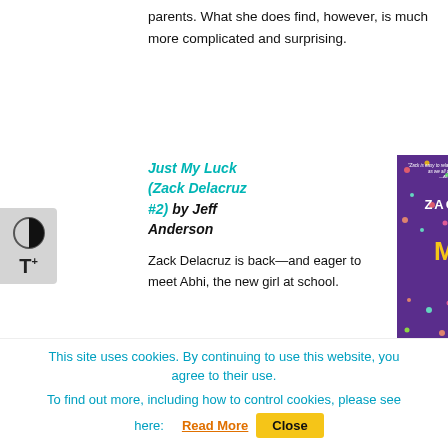parents. What she does find, however, is much more complicated and surprising.
Just My Luck (Zack Delacruz #2) by Jeff Anderson
[Figure (illustration): Book cover of 'Zack Delacruz: Just My Luck' by Jeff Anderson. Purple background with colorful dots/stars. A boy in an orange hoodie and jeans holding a cookie. Yellow title text 'JUST MY LUCK' prominently displayed.]
Zack Delacruz is back—and eager to meet Abhi, the new girl at school.
This site uses cookies. By continuing to use this website, you agree to their use. To find out more, including how to control cookies, please see here: Read More
Close